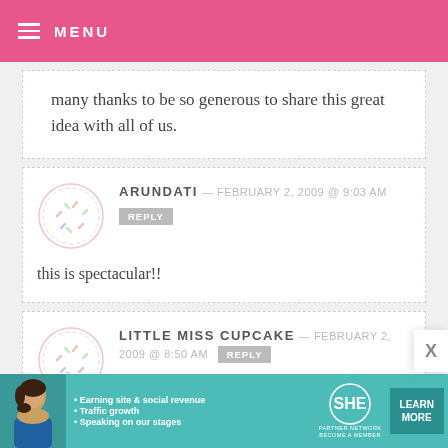MENU
many thanks to be so generous to share this great idea with all of us.
ARUNDATI — FEBRUARY 2, 2009 @ 9:03 AM
REPLY
this is spectacular!!
LITTLE MISS CUPCAKE — FEBRUARY 2, 2009 @ 8:50 AM
REPLY
[Figure (infographic): SHE Partner Network advertisement banner with photo, bullet points about earning site & social revenue, traffic growth, speaking on our stages, SHE logo, and LEARN MORE button]